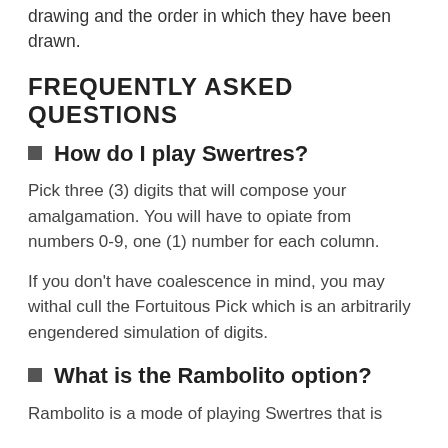drawing and the order in which they have been drawn.
FREQUENTLY ASKED QUESTIONS
How do I play Swertres?
Pick three (3) digits that will compose your amalgamation. You will have to opiate from numbers 0-9, one (1) number for each column.
If you don't have coalescence in mind, you may withal cull the Fortuitous Pick which is an arbitrarily engendered simulation of digits.
What is the Rambolito option?
Rambolito is a mode of playing Swertres that is